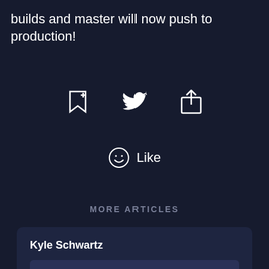builds and master will now push to production!
[Figure (infographic): Three action icons in a row: bookmark-add icon, Twitter bird icon, and share/upload icon]
[Figure (infographic): Smiley face emoji icon followed by the word Like]
MORE ARTICLES
Kyle Schwartz